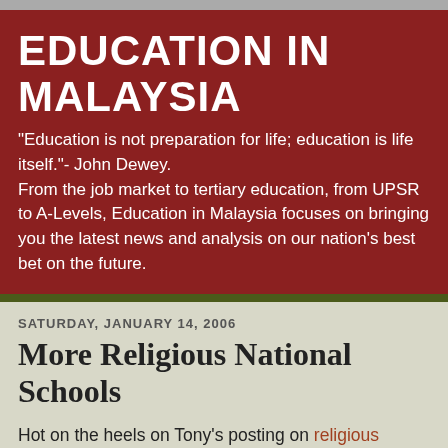EDUCATION IN MALAYSIA
"Education is not preparation for life; education is life itself."- John Dewey.
From the job market to tertiary education, from UPSR to A-Levels, Education in Malaysia focuses on bringing you the latest news and analysis on our nation's best bet on the future.
SATURDAY, JANUARY 14, 2006
More Religious National Schools
Hot on the heels on Tony's posting on religious billboards in a Kajang High School, the Star has reported a story in Batu Pahat, of a Punjabi student being asked to shave his beard